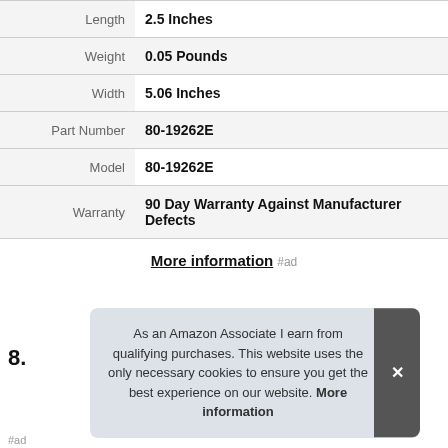| Property | Value |
| --- | --- |
| Length | 2.5 Inches |
| Weight | 0.05 Pounds |
| Width | 5.06 Inches |
| Part Number | 80-19262E |
| Model | 80-19262E |
| Warranty | 90 Day Warranty Against Manufacturer Defects |
More information #ad
8.
As an Amazon Associate I earn from qualifying purchases. This website uses the only necessary cookies to ensure you get the best experience on our website. More information
#ad